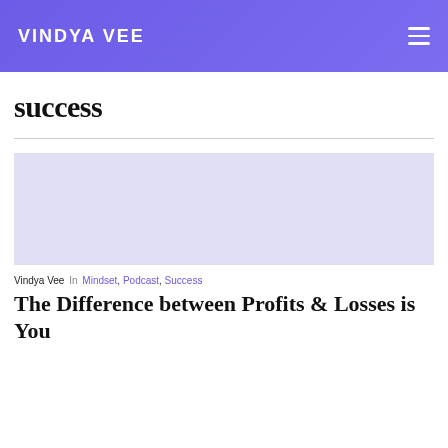VINDYA VEE
success
[Figure (illustration): Light purple/lavender rectangular image placeholder for an article thumbnail]
Vindya Vee In Mindset, Podcast, Success
The Difference between Profits & Losses is You